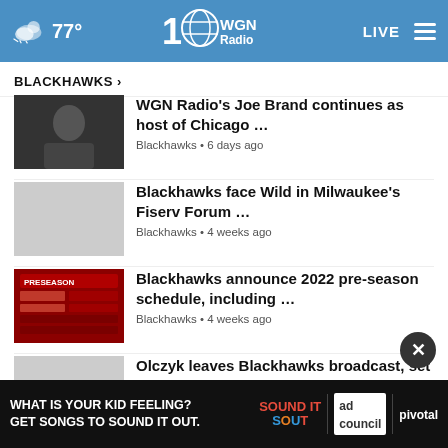77° WGN Radio 100 LIVE
BLACKHAWKS ›
WGN Radio's Joe Brand continues as host of Chicago … | Blackhawks • 6 days ago
Blackhawks face Wild in Milwaukee's Fiserv Forum … | Blackhawks • 4 weeks ago
Blackhawks announce 2022 pre-season schedule, including … | Blackhawks • 4 weeks ago
Olczyk leaves Blackhawks broadcast, set to join Kraken | Blackhawks • 1 month ago
Would you trade Patrick Ka… | Scotty Bowman moves on from jo…
[Figure (screenshot): Advertisement banner: WHAT IS YOUR KID FEELING? GET SONGS TO SOUND IT OUT. Sound It Out ad with ad council and pivotal logos.]